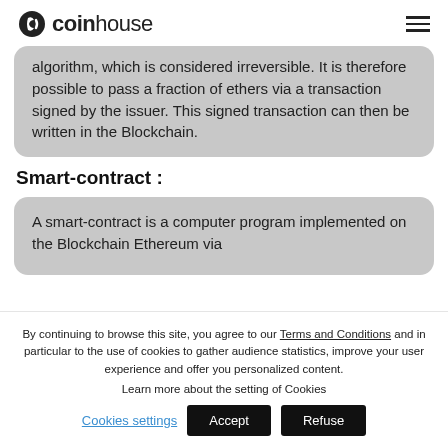coinhouse
algorithm, which is considered irreversible. It is therefore possible to pass a fraction of ethers via a transaction signed by the issuer. This signed transaction can then be written in the Blockchain.
Smart-contract :
A smart-contract is a computer program implemented on the Blockchain Ethereum via
By continuing to browse this site, you agree to our Terms and Conditions and in particular to the use of cookies to gather audience statistics, improve your user experience and offer you personalized content.
Learn more about the setting of Cookies